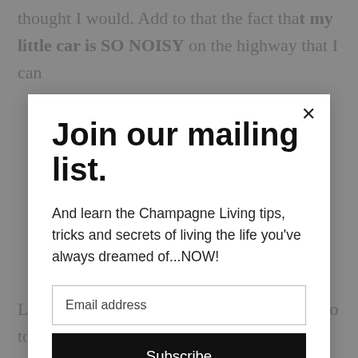thought I would. Add to that the fact that my little car is SO NOISY on the highway that I can
Join our mailing list.
And learn the Champagne Living tips, tricks and secrets of living the life you've always dreamed of...NOW!
Email address
Subscribe
LOOKING Chevy Volt off in my driveway to tool around town in for five days.